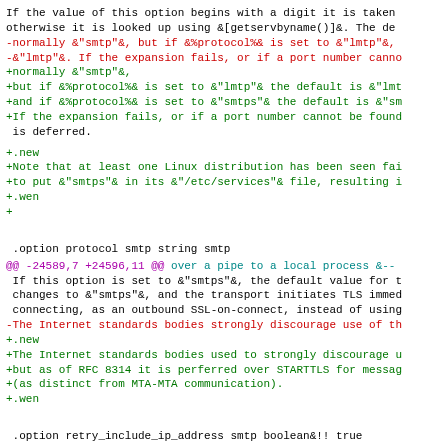If the value of this option begins with a digit it is taken otherwise it is looked up using &[getservbyname()]&. The de -normally &"smtp"&, but if &%protocol%& is set to &"lmtp"&, -&"lmtp"&. If the expansion fails, or if a port number canno +normally &"smtp"&, +but if &%protocol%& is set to &"lmtp"& the default is &"lmt +and if &%protocol%& is set to &"smtps"& the default is &"sm +If the expansion fails, or if a port number cannot be found  is deferred.
+.new +Note that at least one Linux distribution has been seen fai +to put &"smtps"& in its &"/etc/services"& file, resulting i +.wen ++
.option protocol smtp string smtp
@@ -24589,7 +24596,11 @@ over a pipe to a local process &-- If this option is set to &"smtps"&, the default value for t changes to &"smtps"&, and the transport initiates TLS immed connecting, as an outbound SSL-on-connect, instead of using -The Internet standards bodies strongly discourage use of th +.new +The Internet standards bodies used to strongly discourage u +but as of RFC 8314 it is perferred over STARTTLS for messag +(as distinct from MTA-MTA communication). +.wen
.option retry_include_ip_address smtp boolean&!! true